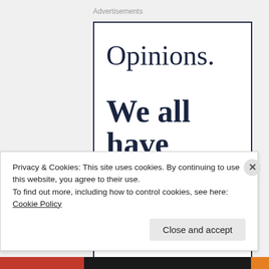Advertisements
[Figure (illustration): Advertisement box with text 'Opinions.' in regular serif font and 'We all have them!' in bold serif font on white background with dark navy border.]
Privacy & Cookies: This site uses cookies. By continuing to use this website, you agree to their use.
To find out more, including how to control cookies, see here: Cookie Policy
Close and accept